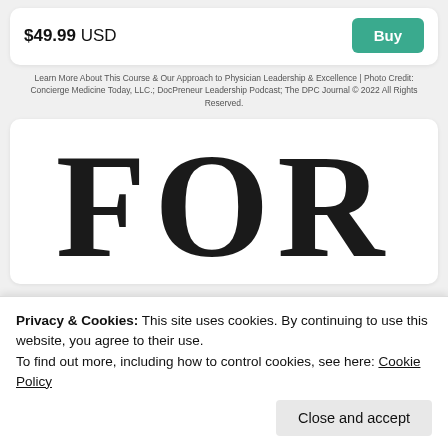$49.99 USD
[Figure (screenshot): Green 'Buy' button]
Learn More About This Course & Our Approach to Physician Leadership & Excellence | Photo Credit: Concierge Medicine Today, LLC.; DocPreneur Leadership Podcast; The DPC Journal © 2022 All Rights Reserved.
[Figure (photo): Large bold letters 'FOR' partially visible, cropped, in a white card]
Privacy & Cookies: This site uses cookies. By continuing to use this website, you agree to their use.
To find out more, including how to control cookies, see here: Cookie Policy
Close and accept